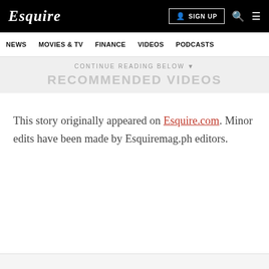Esquire — SIGN UP
NEWS   MOVIES & TV   FINANCE   VIDEOS   PODCASTS
CONTINUE READING BELOW ▾
RECOMMENDED VIDEOS
This story originally appeared on Esquire.com. Minor edits have been made by Esquiremag.ph editors.